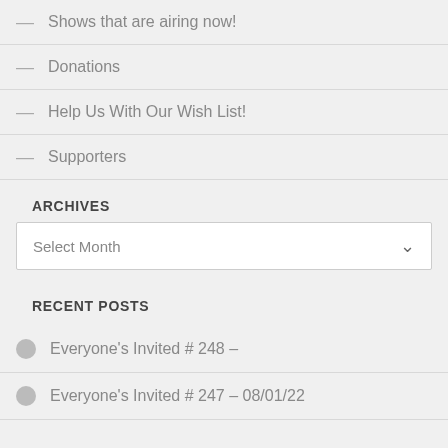— Shows that are airing now!
— Donations
— Help Us With Our Wish List!
— Supporters
ARCHIVES
Select Month
RECENT POSTS
Everyone's Invited # 248 –
Everyone's Invited # 247 – 08/01/22